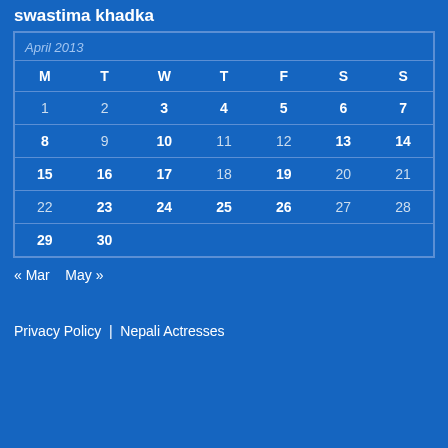swastima khadka
| M | T | W | T | F | S | S |
| --- | --- | --- | --- | --- | --- | --- |
| 1 | 2 | 3 | 4 | 5 | 6 | 7 |
| 8 | 9 | 10 | 11 | 12 | 13 | 14 |
| 15 | 16 | 17 | 18 | 19 | 20 | 21 |
| 22 | 23 | 24 | 25 | 26 | 27 | 28 |
| 29 | 30 |  |  |  |  |  |
« Mar   May »
Privacy Policy | Nepali Actresses